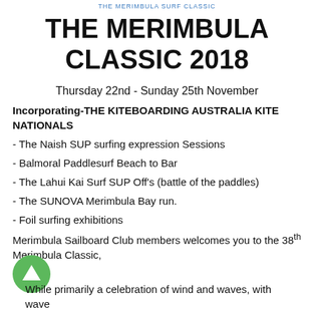THE MERIMBULA SURF CLASSIC
THE MERIMBULA CLASSIC 2018
Thursday 22nd - Sunday 25th November
Incorporating-THE KITEBOARDING AUSTRALIA KITE NATIONALS
- The Naish SUP surfing expression Sessions
- Balmoral Paddlesurf Beach to Bar
- The Lahui Kai Surf SUP Off's (battle of the paddles)
- The SUNOVA Merimbula Bay run.
- Foil surfing exhibitions
Merimbula Sailboard Club members welcomes you to the 38th Merimbula Classic,
While primarily a celebration of wind and waves, with wave